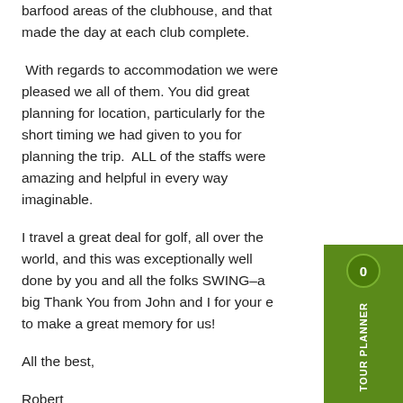barfood areas of the clubhouse, and that made the day at each club complete.
With regards to accommodation we were pleased we all of them. You did great planning for location, particularly for the short timing we had given to you for planning the trip.  ALL of the staffs were amazing and helpful in every way imaginable.
I travel a great deal for golf, all over the world, and this was exceptionally well done by you and all the folks SWING–a big Thank You from John and I for your e to make a great memory for us!
All the best,
Robert